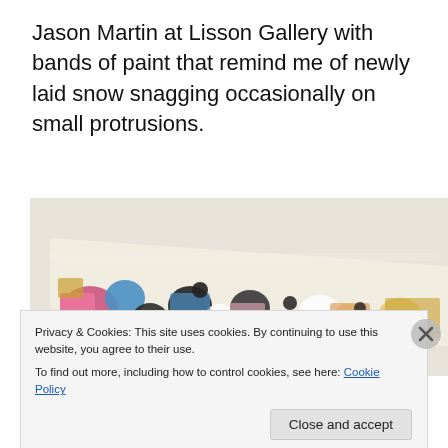Jason Martin at Lisson Gallery with bands of paint that remind me of newly laid snow snagging occasionally on small protrusions.
[Figure (photo): A large abstract painting at Lisson Gallery by Jason Martin, shown at an angle, featuring multicolored abstract shapes in pink, blue, black, yellow, and white.]
Privacy & Cookies: This site uses cookies. By continuing to use this website, you agree to their use.
To find out more, including how to control cookies, see here: Cookie Policy
Close and accept